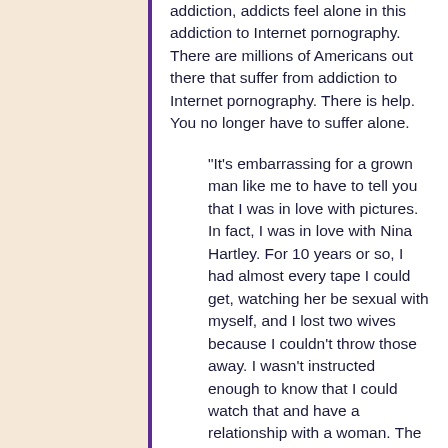addiction, addicts feel alone in this addiction to Internet pornography. There are millions of Americans out there that suffer from addiction to Internet pornography. There is help. You no longer have to suffer alone.
"It's embarrassing for a grown man like me to have to tell you that I was in love with pictures. In fact, I was in love with Nina Hartley. For 10 years or so, I had almost every tape I could get, watching her be sexual with myself, and I lost two wives because I couldn't throw those away. I wasn't instructed enough to know that I could watch that and have a relationship with a woman. The hardest thing I ever had to do,